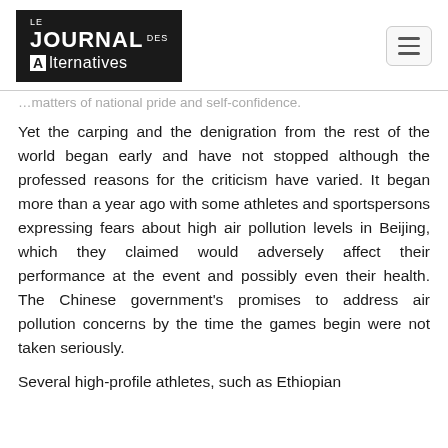Le Journal des Alternatives
…matters of national pride and self-confidence.
Yet the carping and the denigration from the rest of the world began early and have not stopped although the professed reasons for the criticism have varied. It began more than a year ago with some athletes and sportspersons expressing fears about high air pollution levels in Beijing, which they claimed would adversely affect their performance at the event and possibly even their health. The Chinese government's promises to address air pollution concerns by the time the games begin were not taken seriously.
Several high-profile athletes, such as Ethiopian